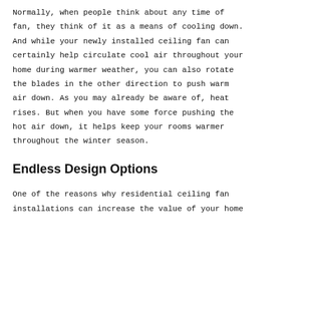Normally, when people think about any time of fan, they think of it as a means of cooling down. And while your newly installed ceiling fan can certainly help circulate cool air throughout your home during warmer weather, you can also rotate the blades in the other direction to push warm air down. As you may already be aware of, heat rises. But when you have some force pushing the hot air down, it helps keep your rooms warmer throughout the winter season.
Endless Design Options
One of the reasons why residential ceiling fan installations can increase the value of your home